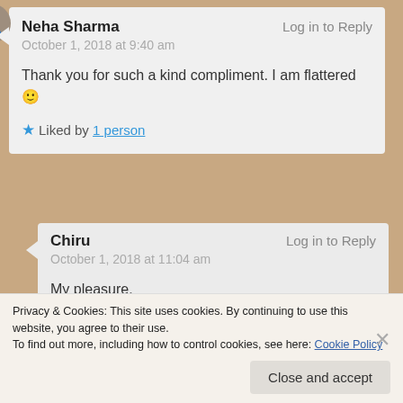Neha Sharma — Log in to Reply
October 1, 2018 at 9:40 am
Thank you for such a kind compliment. I am flattered 🙂
★ Liked by 1 person
Chiru — Log in to Reply
October 1, 2018 at 11:04 am
My pleasure.
Privacy & Cookies: This site uses cookies. By continuing to use this website, you agree to their use.
To find out more, including how to control cookies, see here: Cookie Policy
Close and accept